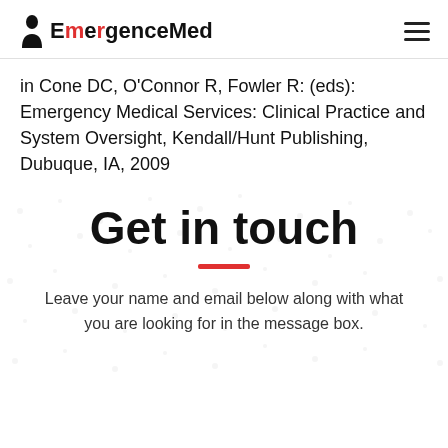EmergenceMed
in Cone DC, O'Connor R, Fowler R: (eds): Emergency Medical Services: Clinical Practice and System Oversight, Kendall/Hunt Publishing, Dubuque, IA, 2009
Get in touch
Leave your name and email below along with what you are looking for in the message box.